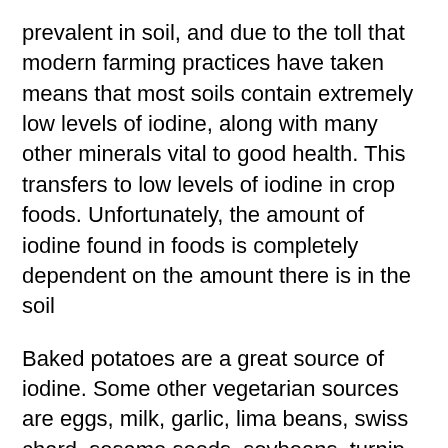prevalent in soil, and due to the toll that modern farming practices have taken means that most soils contain extremely low levels of iodine, along with many other minerals vital to good health. This transfers to low levels of iodine in crop foods. Unfortunately, the amount of iodine found in foods is completely dependent on the amount there is in the soil
Baked potatoes are a great source of iodine. Some other vegetarian sources are eggs, milk, garlic, lima beans, swiss chard, sesame seeds, soybeans, turnip greens and spinach.
Prior to the 1970’s milk was one of the foods that contributed most iodine to the diet but since the 1990’s the amount present in milk has dropped to about half due to changes in dairy processing practices.
Iodised salt was one food that provided many with daily